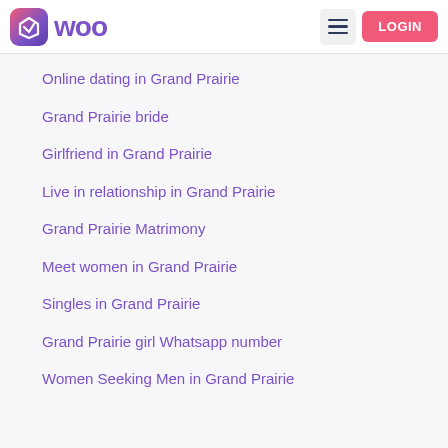WOO — LOGIN
Online dating in Grand Prairie
Grand Prairie bride
Girlfriend in Grand Prairie
Live in relationship in Grand Prairie
Grand Prairie Matrimony
Meet women in Grand Prairie
Singles in Grand Prairie
Grand Prairie girl Whatsapp number
Women Seeking Men in Grand Prairie